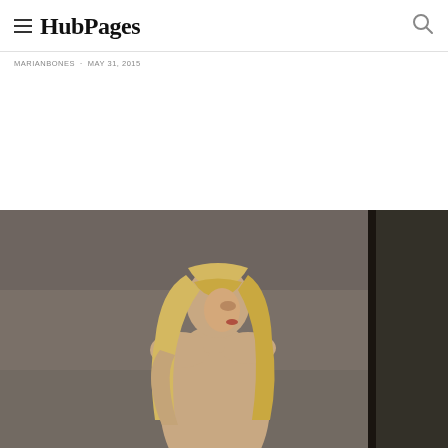HubPages
MARIANBONES · MAY 31, 2015
[Figure (photo): A woman with long blonde hair photographed from behind, looking over her shoulder, against a grey concrete wall background with a dark door frame on the right side.]